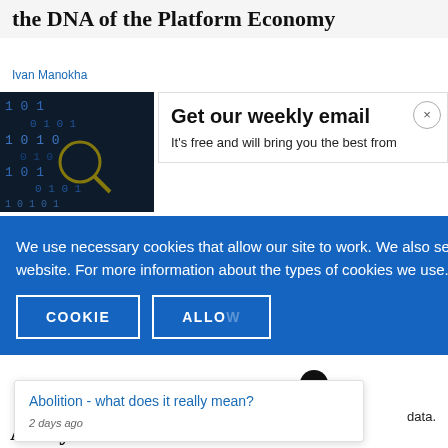the DNA of the Platform Economy
Ivan Manokha
[Figure (photo): Dark photo with binary digits (0s and 1s) overlaid on a dark background]
Get our weekly email
It's free and will bring you the best from
We use necessary cookies that allow our site to work. We also set optional cookies that help us improve our website. For more information about the types of cookies we use. READ OUR COOKIES POLICY HERE
COOKIE
ALLOW
Abolition - what does it really mean?
2 days ago
data.
Analytu